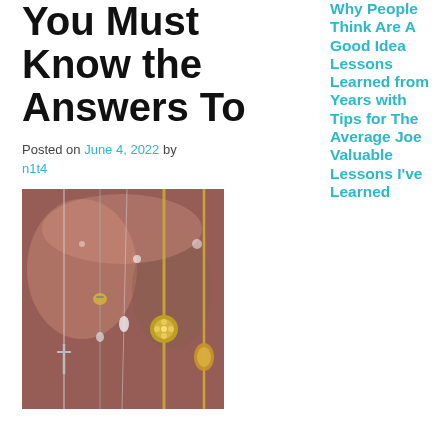You Must Know the Answers To
Posted on June 4, 2022 by n1t4
[Figure (photo): Close-up photo of hanging jewelry necklaces with pendants including crosses, coins, and gem pieces in silver and gold tones]
Why People Think Are A Good Idea Lessons Learned from Years with Tips for The Average Joe Valuable Lessons I've Learned